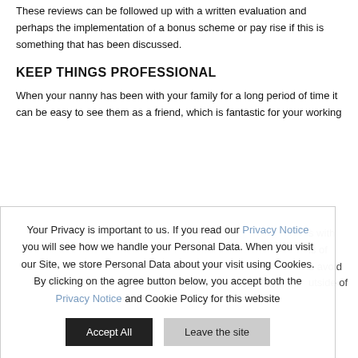These reviews can be followed up with a written evaluation and perhaps the implementation of a bonus scheme or pay rise if this is something that has been discussed.
KEEP THINGS PROFESSIONAL
When your nanny has been with your family for a long period of time it can be easy to see them as a friend, which is fantastic for your working
Your Privacy is important to us. If you read our Privacy Notice you will see how we handle your Personal Data. When you visit our Site, we store Personal Data about your visit using Cookies. By clicking on the agree button below, you accept both the Privacy Notice and Cookie Policy for this website
Accept All
Leave the site